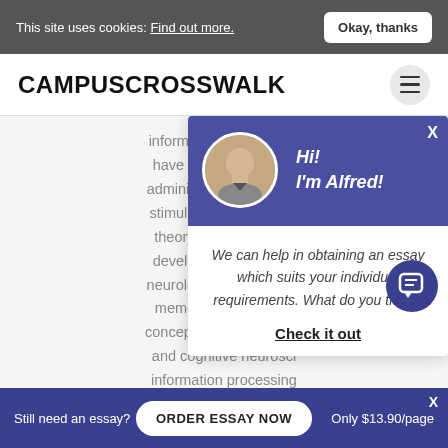This site uses cookies: Find out more. | Okay, thanks
CAMPUSCROSSWALK
information mainly redu... have suggested moda... administer and comman... stimuli. Modern Applica... theory has been an in... developmental founda... neurological inconsisten... memory.Modern psyc... concept that the process... and cognitive neurosci... information processing... actual neurological pro...
[Figure (screenshot): Chat popup with Alfred avatar. Header: Hi! I'm Alfred! Body: We can help in obtaining an essay which suits your individual requirements. What do you think? Check it out]
g. the parallel distributed processing model of cognition,
Still need an essay? | ORDER ESSAY NOW | Only $13.90/page